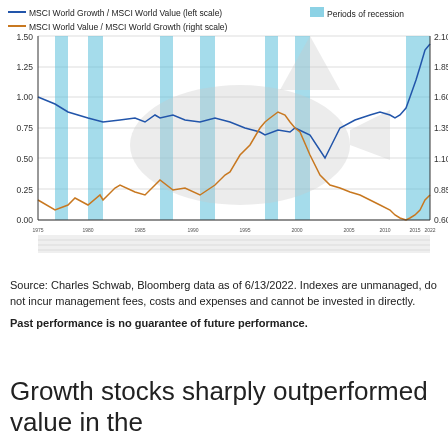[Figure (continuous-plot): Dual-axis line chart showing MSCI World Growth / MSCI World Value (left scale, blue line) and MSCI World Value / MSCI World Growth (right scale, orange line) over time from approximately 1975 to 2022. Left y-axis ranges 0.00–1.50, right y-axis ranges 0.60–2.10. Cyan vertical bands mark Periods of recession. A decorative shark illustration overlays the chart. The blue line starts near 1.00, declines to ~0.75, spikes in recent years to ~1.50. The orange line starts ~0.40, rises, then drops sharply to near 0.60 in recent period.]
Source: Charles Schwab, Bloomberg data as of 6/13/2022. Indexes are unmanaged, do not incur management fees, costs and expenses and cannot be invested in directly.
Past performance is no guarantee of future performance.
Growth stocks sharply outperformed value in the